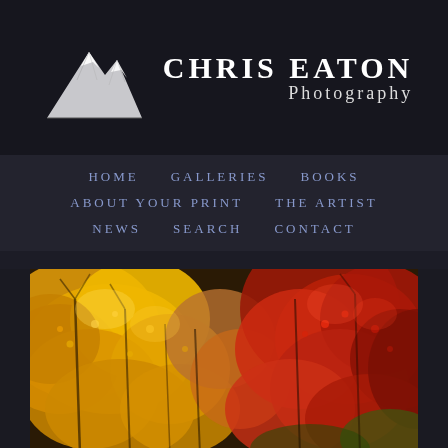[Figure (logo): Chris Eaton Photography logo with white mountain silhouette and text]
HOME   GALLERIES   BOOKS   ABOUT YOUR PRINT   THE ARTIST   NEWS   SEARCH   CONTACT
[Figure (photo): Autumn foliage photograph showing dense colorful trees with yellow, orange, and red leaves]